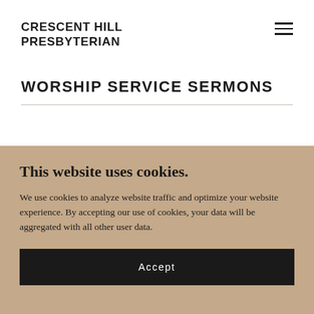CRESCENT HILL PRESBYTERIAN
WORSHIP SERVICE SERMONS
This website uses cookies.
We use cookies to analyze website traffic and optimize your website experience. By accepting our use of cookies, your data will be aggregated with all other user data.
Accept